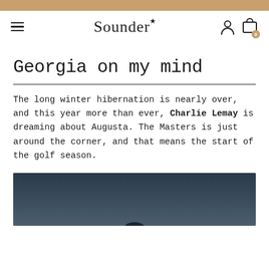Sounder
Georgia on my mind
The long winter hibernation is nearly over, and this year more than ever, Charlie Lemay is dreaming about Augusta. The Masters is just around the corner, and that means the start of the golf season.
[Figure (photo): Dark night sky photograph showing a silhouette at the bottom, blue-grey gradient background]